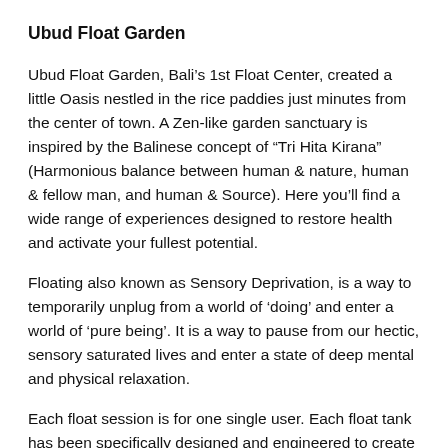Ubud Float Garden
Ubud Float Garden, Bali’s 1st Float Center, created a little Oasis nestled in the rice paddies just minutes from the center of town. A Zen-like garden sanctuary is inspired by the Balinese concept of “Tri Hita Kirana” (Harmonious balance between human & nature, human & fellow man, and human & Source). Here you’ll find a wide range of experiences designed to restore health and activate your fullest potential.
Floating also known as Sensory Deprivation, is a way to temporarily unplug from a world of ‘doing’ and enter a world of ‘pure being’. It is a way to pause from our hectic, sensory saturated lives and enter a state of deep mental and physical relaxation.
Each float session is for one single user. Each float tank has been specifically designed and engineered to create a unique environment void of external distractions and